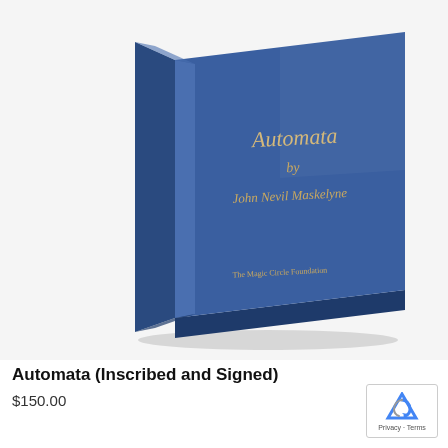[Figure (photo): A blue hardcover book titled 'Automata by John Nevil Maskelyne' published by The Magic Circle Foundation, shown at an angle on a white background.]
Automata (Inscribed and Signed)
$150.00